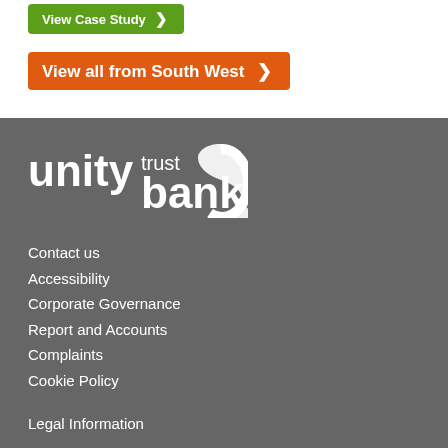View Case Study →
View all from South West →
[Figure (logo): Unity Trust Bank logo in white on grey background]
Contact us
Accessibility
Corporate Governance
Report and Accounts
Complaints
Cookie Policy
Legal Information